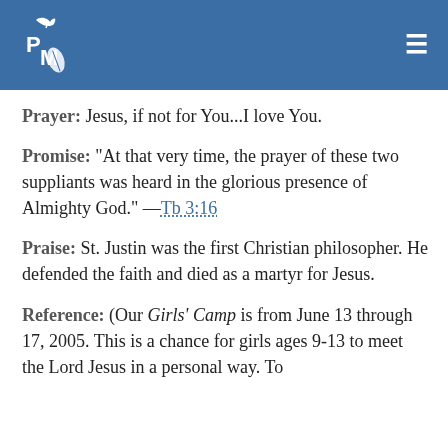[Figure (logo): PM logo with bird and leaf on blue header background, with hamburger menu icon on right]
Prayer:  Jesus, if not for You...I love You.
Promise:  "At that very time, the prayer of these two suppliants was heard in the glorious presence of Almighty God."  —Tb 3:16
Praise:  St. Justin was the first Christian philosopher. He defended the faith and died as a martyr for Jesus.
Reference:  (Our Girls' Camp is from June 13 through 17, 2005. This is a chance for girls ages 9-13 to meet the Lord Jesus in a personal way. To